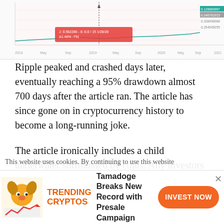[Figure (continuous-plot): Partial screenshot of a cryptocurrency price chart (Ripple/XRP) showing price history from 2018 to 2021 with a pink highlighted tooltip region and price scale on the right side showing values like 0.128860997, 0.246781915, 0.338498988, 0.254549255]
Ripple peaked and crashed days later, eventually reaching a 95% drawdown almost 700 days after the article ran. The article has since gone on in cryptocurrency history to become a long-running joke.
The article ironically includes a child underwater surrounded by coins. Any investors who listened to CNBC and bought XRP on that fateful day, is still underwater on their investment today.
It also started a recurring theme for CNBC
This website uses cookies. By continuing to use this website
[Figure (infographic): Advertisement banner: Tamadoge Breaks New Record with Presale Campaign. Features a cartoon dog logo with trending arrow graphic, orange TRENDING CRYPTOS label, and an orange INVEST NOW button.]